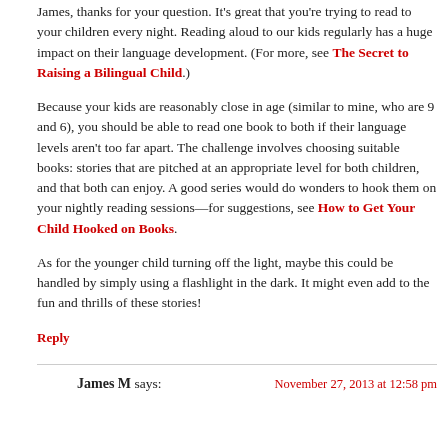James, thanks for your question. It's great that you're trying to read to your children every night. Reading aloud to our kids regularly has a huge impact on their language development. (For more, see The Secret to Raising a Bilingual Child.)
Because your kids are reasonably close in age (similar to mine, who are 9 and 6), you should be able to read one book to both if their language levels aren't too far apart. The challenge involves choosing suitable books: stories that are pitched at an appropriate level for both children, and that both can enjoy. A good series would do wonders to hook them on your nightly reading sessions—for suggestions, see How to Get Your Child Hooked on Books.
As for the younger child turning off the light, maybe this could be handled by simply using a flashlight in the dark. It might even add to the fun and thrills of these stories!
Reply
James M says: November 27, 2013 at 12:58 pm